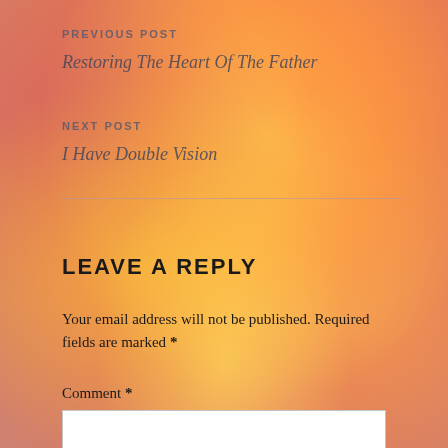PREVIOUS POST
Restoring The Heart Of The Father
NEXT POST
I Have Double Vision
LEAVE A REPLY
Your email address will not be published. Required fields are marked *
Comment *